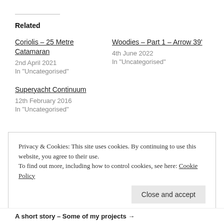Related
Coriolis – 25 Metre Catamaran
2nd April 2021
In "Uncategorised"
Woodies – Part 1 – Arrow 39'
4th June 2022
In "Uncategorised"
Superyacht Continuum
12th February 2016
In "Uncategorised"
Privacy & Cookies: This site uses cookies. By continuing to use this website, you agree to their use.
To find out more, including how to control cookies, see here: Cookie Policy
A short story – Some of my projects →